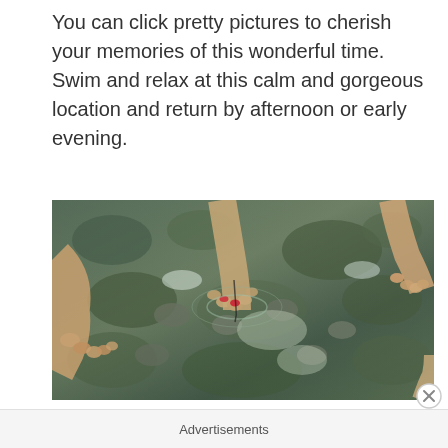You can click pretty pictures to cherish your memories of this wonderful time. Swim and relax at this calm and gorgeous location and return by afternoon or early evening.
[Figure (photo): Aerial view of multiple people's feet standing in clear shallow water over mossy rocks, with toes visible submerged in the water. One person has red-painted toenails.]
Advertisements